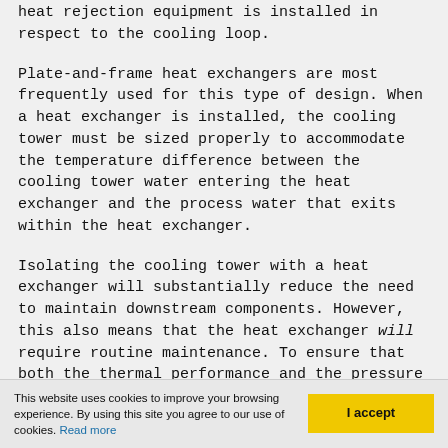heat rejection equipment is installed in respect to the cooling loop.
Plate-and-frame heat exchangers are most frequently used for this type of design. When a heat exchanger is installed, the cooling tower must be sized properly to accommodate the temperature difference between the cooling tower water entering the heat exchanger and the process water that exits within the heat exchanger.
Isolating the cooling tower with a heat exchanger will substantially reduce the need to maintain downstream components. However, this also means that the heat exchanger will require routine maintenance. To ensure that both the thermal performance and the pressure drop across the heat exchanger meet design requirements, heat exchangers should be certified per
This website uses cookies to improve your browsing experience. By using this site you agree to our use of cookies. Read more
I accept